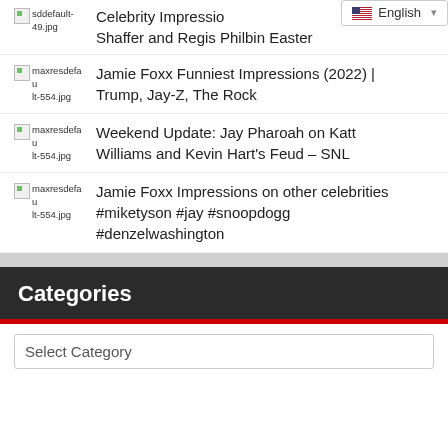sddefault-49.jpg — Celebrity Impressions … Shaffer and Regis Philbin Easter
maxresdefault-554.jpg — Jamie Foxx Funniest Impressions (2022) | Trump, Jay-Z, The Rock
maxresdefault-554.jpg — Weekend Update: Jay Pharoah on Katt Williams and Kevin Hart's Feud – SNL
maxresdefault-554.jpg — Jamie Foxx Impressions on other celebrities #miketyson #jay #snoopdogg #denzelwashington
Categories
Select Category